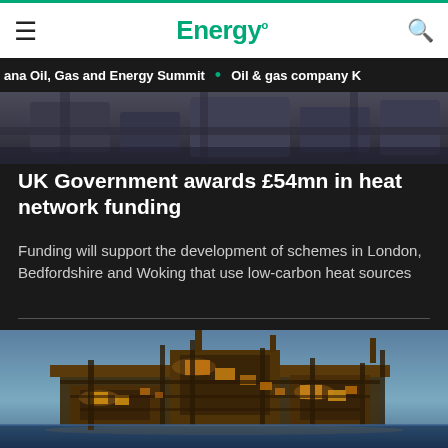Energy
ana Oil, Gas and Energy Summit • Oil & gas company K
[Figure (photo): Partial view of dark industrial machinery or offshore equipment, cropped at top]
UK Government awards £54mn in heat network funding
Funding will support the development of schemes in London, Bedfordshire and Woking that use low-carbon heat sources
[Figure (photo): Oil and gas offshore platform at dusk/night, illuminated with yellow lights against a blue sky, complex industrial structure with pipes and platforms]